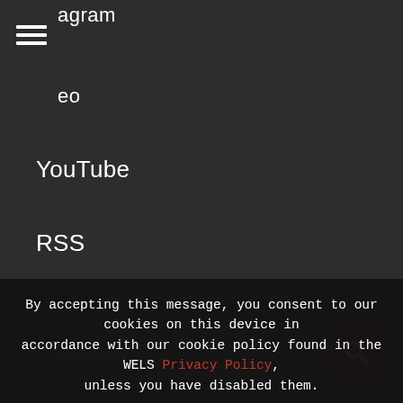agram
eo
YouTube
RSS
[Figure (screenshot): Search bar with text input field and red search button with magnifying glass icon]
Try our Advanced Search instead
By accepting this message, you consent to our cookies on this device in accordance with our cookie policy found in the WELS Privacy Policy, unless you have disabled them.
I AGREE
WELS CENTER FOR MISSION AND MINISTRY
N16W23377